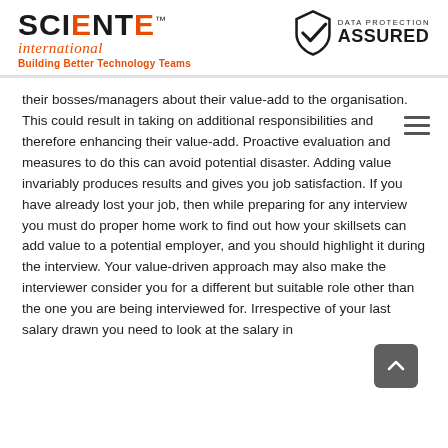[Figure (logo): Sciente International logo with tagline 'Building Better Technology Teams' and Data Protection Assured badge]
their bosses/managers about their value-add to the organisation. This could result in taking on additional responsibilities and therefore enhancing their value-add. Proactive evaluation and measures to do this can avoid potential disaster. Adding value invariably produces results and gives you job satisfaction. If you have already lost your job, then while preparing for any interview you must do proper home work to find out how your skillsets can add value to a potential employer, and you should highlight it during the interview. Your value-driven approach may also make the interviewer consider you for a different but suitable role other than the one you are being interviewed for. Irrespective of your last salary drawn you need to look at the salary in